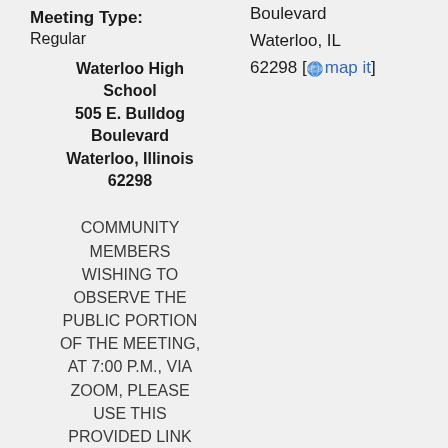Meeting Type:
Regular
Waterloo High School
505 E. Bulldog Boulevard
Waterloo, Illinois
62298
Boulevard
Waterloo, IL
62298 [map it]
COMMUNITY MEMBERS WISHING TO OBSERVE THE PUBLIC PORTION OF THE MEETING, AT 7:00 P.M., VIA ZOOM, PLEASE USE THIS PROVIDED LINK